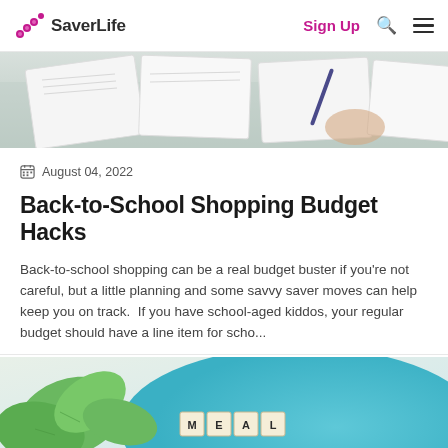SaverLife — Sign Up
[Figure (photo): Top portion of a photo showing papers/worksheets spread on a desk, viewed from above, with someone's hands visible]
August 04, 2022
Back-to-School Shopping Budget Hacks
Back-to-school shopping can be a real budget buster if you're not careful, but a little planning and some savvy saver moves can help keep you on track.  If you have school-aged kiddos, your regular budget should have a line item for scho...
[Figure (photo): Bottom portion of a photo showing a blue plate with Scrabble tiles spelling 'MEAL PLAN' and green plant leaves on the left side]